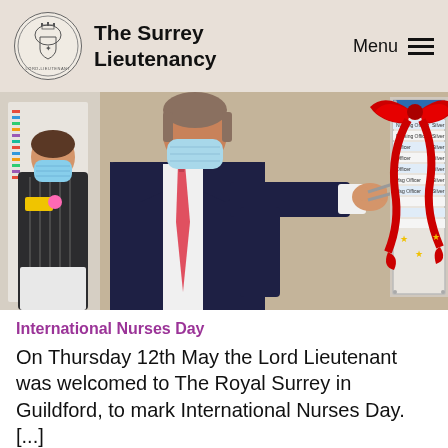The Surrey Lieutenancy | Menu
[Figure (photo): A man in a dark suit and pink tie wearing a blue face mask cuts a ribbon on a notice board decorated with a large red bow. A woman in a dark nurse uniform with a yellow name badge and face mask stands to his left. The notice board shows an awards list.]
International Nurses Day
On Thursday 12th May the Lord Lieutenant was welcomed to The Royal Surrey in Guildford, to mark International Nurses Day. [...]